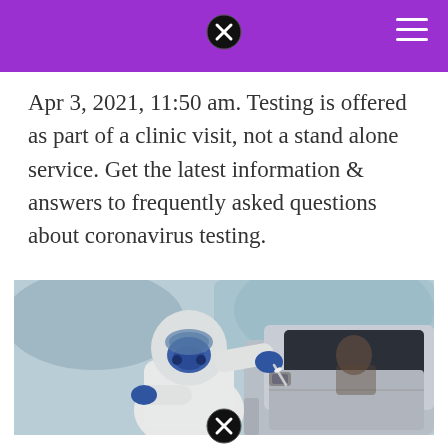Apr 3, 2021, 11:50 am. Testing is offered as part of a clinic visit, not a stand alone service. Get the latest information & answers to frequently asked questions about coronavirus testing.
[Figure (photo): A healthcare worker in a white hazmat suit and blue respirator mask with gloves administers a COVID-19 test through a car window to a driver, at a drive-through testing site.]